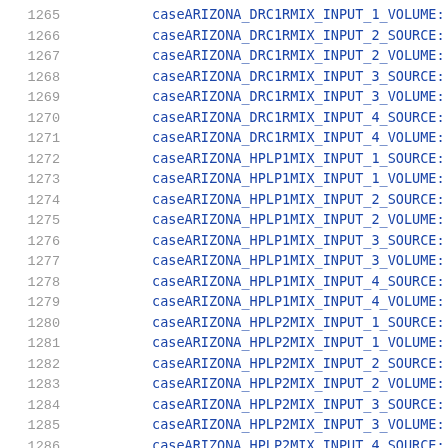1265 case ARIZONA_DRC1RMIX_INPUT_1_VOLUME:
1266 case ARIZONA_DRC1RMIX_INPUT_2_SOURCE:
1267 case ARIZONA_DRC1RMIX_INPUT_2_VOLUME:
1268 case ARIZONA_DRC1RMIX_INPUT_3_SOURCE:
1269 case ARIZONA_DRC1RMIX_INPUT_3_VOLUME:
1270 case ARIZONA_DRC1RMIX_INPUT_4_SOURCE:
1271 case ARIZONA_DRC1RMIX_INPUT_4_VOLUME:
1272 case ARIZONA_HPLP1MIX_INPUT_1_SOURCE:
1273 case ARIZONA_HPLP1MIX_INPUT_1_VOLUME:
1274 case ARIZONA_HPLP1MIX_INPUT_2_SOURCE:
1275 case ARIZONA_HPLP1MIX_INPUT_2_VOLUME:
1276 case ARIZONA_HPLP1MIX_INPUT_3_SOURCE:
1277 case ARIZONA_HPLP1MIX_INPUT_3_VOLUME:
1278 case ARIZONA_HPLP1MIX_INPUT_4_SOURCE:
1279 case ARIZONA_HPLP1MIX_INPUT_4_VOLUME:
1280 case ARIZONA_HPLP2MIX_INPUT_1_SOURCE:
1281 case ARIZONA_HPLP2MIX_INPUT_1_VOLUME:
1282 case ARIZONA_HPLP2MIX_INPUT_2_SOURCE:
1283 case ARIZONA_HPLP2MIX_INPUT_2_VOLUME:
1284 case ARIZONA_HPLP2MIX_INPUT_3_SOURCE:
1285 case ARIZONA_HPLP2MIX_INPUT_3_VOLUME:
1286 case ARIZONA_HPLP2MIX_INPUT_4_SOURCE: